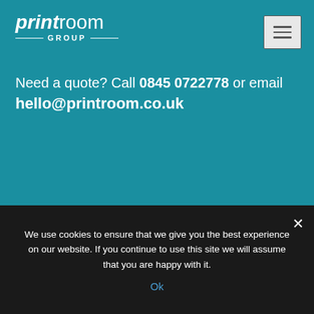printroom GROUP
Need a quote? Call 0845 0722778 or email hello@printroom.co.uk
We use cookies to ensure that we give you the best experience on our website. If you continue to use this site we will assume that you are happy with it. Ok